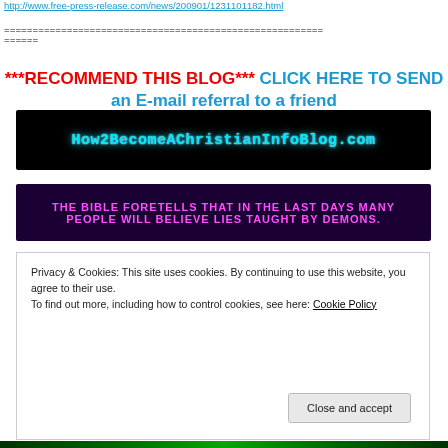http://www.free-press-release.com/news/200901/1231101182.html
========================================================
======
***RECOMMEND THIS BLOG*** CLICK HERE TO SEND an E-mail referral to a friend
[Figure (logo): How2BecomeAChristianInfoBlog.com logo banner — black background with cyan glowing text]
[Figure (illustration): Dark purple banner with pink/magenta bold text: THE BIBLE FORETELLS THAT IN THE LAST DAYS MANY PEOPLE WILL BELIEVE LIES TAUGHT BY DEMONS.]
Privacy & Cookies: This site uses cookies. By continuing to use this website, you agree to their use.
To find out more, including how to control cookies, see here: Cookie Policy
Close and accept